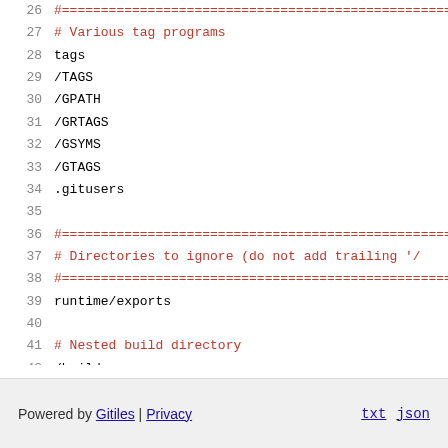26  #====================================================
27  # Various tag programs
28  tags
29  /TAGS
30  /GPATH
31  /GRTAGS
32  /GSYMS
33  /GTAGS
34  .gitusers
35
36  #====================================================
37  # Directories to ignore (do not add trailing '/
38  #====================================================
39  runtime/exports
40
41  # Nested build directory
42  /build
Powered by Gitiles | Privacy    txt  json